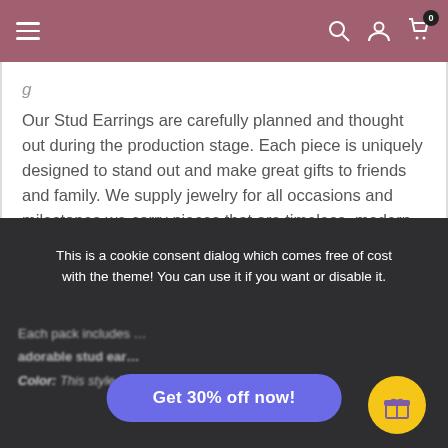Navigation bar with hamburger menu, search, account, and cart icons
g…
Our Stud Earrings are carefully planned and thought out during the production stage. Each piece is uniquely designed to stand out and make great gifts to friends and family. We supply jewelry for all occasions and milestones we carry pieces that are timeless, modern, and contemporary our vast selection of gemstone jewelry and intricate jewelry designs cannot be beat.
This is a cookie consent dialog which comes free of cost with the theme! You can use it if you want or disable it.
Each pack includes …
adorable stud ear…
Color: This style is available … colors to…
Get 30% off now!